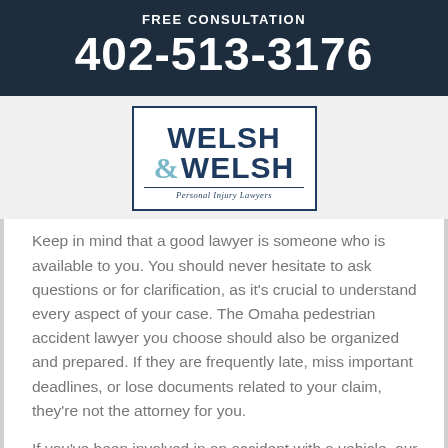FREE CONSULTATION
402-513-3176
[Figure (logo): Welsh & Welsh Personal Injury Lawyers logo — dark blue bordered box with bold 'WELSH' text, teal ampersand, and 'Personal Injury Lawyers' subtitle]
Keep in mind that a good lawyer is someone who is available to you. You should never hesitate to ask questions or for clarification, as it's crucial to understand every aspect of your case. The Omaha pedestrian accident lawyer you choose should also be organized and prepared. If they are frequently late, miss important deadlines, or lose documents related to your claim, they're not the attorney for you.
If you've been involved in an accident with a vehicle, our Omaha pedestrian accident attorneys